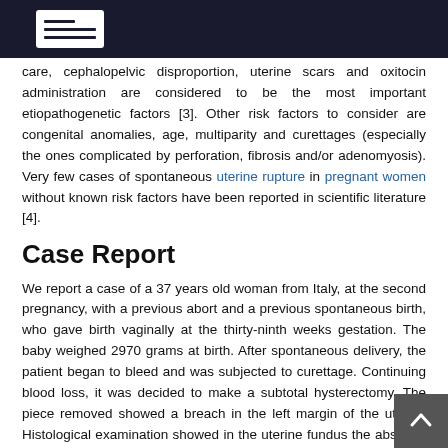care, cephalopelvic disproportion, uterine scars and oxitocin administration are considered to be the most important etiopathogenetic factors [3]. Other risk factors to consider are congenital anomalies, age, multiparity and curettages (especially the ones complicated by perforation, fibrosis and/or adenomyosis). Very few cases of spontaneous uterine rupture in pregnant women without known risk factors have been reported in scientific literature [4].
Case Report
We report a case of a 37 years old woman from Italy, at the second pregnancy, with a previous abort and a previous spontaneous birth, who gave birth vaginally at the thirty-ninth weeks gestation. The baby weighed 2970 grams at birth. After spontaneous delivery, the patient began to bleed and was subjected to curettage. Continuing blood loss, it was decided to make a subtotal hysterectomy. The piece removed showed a breach in the left margin of the uterus. Histological examination showed in the uterine fundus the absence of